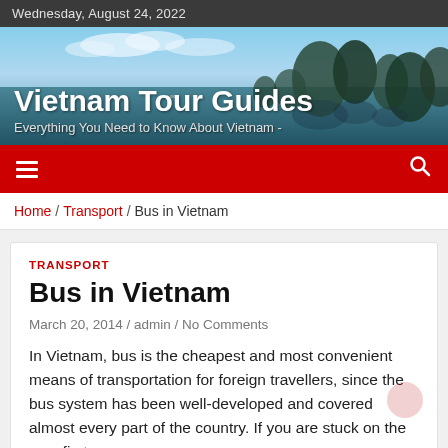Wednesday, August 24, 2022
[Figure (illustration): Vietnam Tour Guides website hero banner with aerial photo of Ha Long Bay in the background. Large white bold text reads 'Vietnam Tour Guides' with subtitle 'Everything You Need to Know About Vietnam -']
[Figure (screenshot): Red navigation bar with hamburger menu icon on left and search icon on right]
Home / Transport / Bus in Vietnam
TRANSPORT
Bus in Vietnam
March 20, 2014 / admin / No Comments
In Vietnam, bus is the cheapest and most convenient means of transportation for foreign travellers, since the bus system has been well-developed and covered almost every part of the country. If you are stuck on the very first